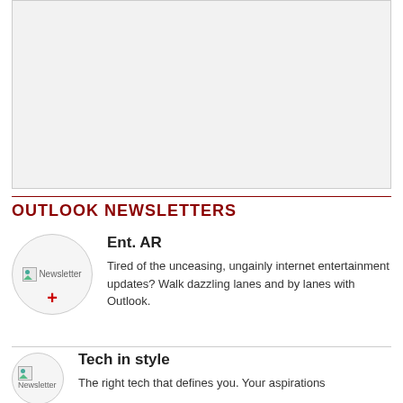[Figure (other): Advertisement or image placeholder box with light gray background]
OUTLOOK NEWSLETTERS
Ent. AR
Tired of the unceasing, ungainly internet entertainment updates? Walk dazzling lanes and by lanes with Outlook.
Tech in style
The right tech that defines you. Your aspirations